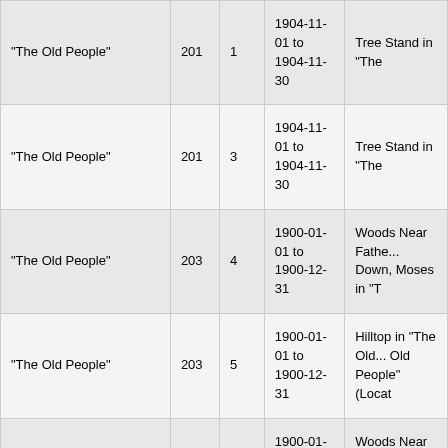| "The Old People" | 201 | 1 | 1904-11-01 to 1904-11-30 | Tree Stand in "The... |
| "The Old People" | 201 | 3 | 1904-11-01 to 1904-11-30 | Tree Stand in "The... |
| "The Old People" | 203 | 4 | 1900-01-01 to 1900-12-31 | Woods Near Fathe... Down, Moses in "T... |
| "The Old People" | 203 | 5 | 1900-01-01 to 1900-12-31 | Hilltop in "The Old... Old People" (Locat... |
| "The Old People" | 203 | 6 | 1900-01-01 to 1900-12-31 | Woods Near Fathe... Down, Moses in "T... |
| "The Old People" | 201 | 4 | 1904-11-01 to 1904-11-... | Tree Stand in "The... |